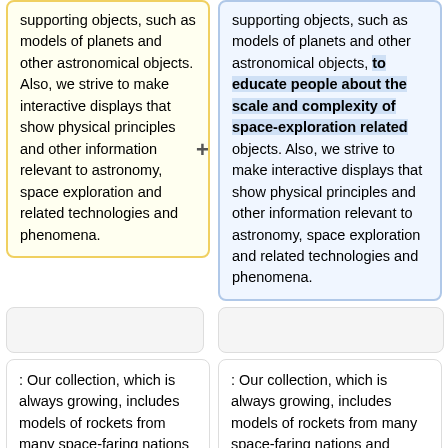supporting objects, such as models of planets and other astronomical objects. Also, we strive to make interactive displays that show physical principles and other information relevant to astronomy, space exploration and related technologies and phenomena.
supporting objects, such as models of planets and other astronomical objects, to educate people about the scale and complexity of space-exploration related objects. Also, we strive to make interactive displays that show physical principles and other information relevant to astronomy, space exploration and related technologies and phenomena.
: Our collection, which is always growing, includes models of rockets from many space-faring nations and private organizations, space probes, telescopes and
: Our collection, which is always growing, includes models of rockets from many space-faring nations and private organizations, space probes, telescopes and